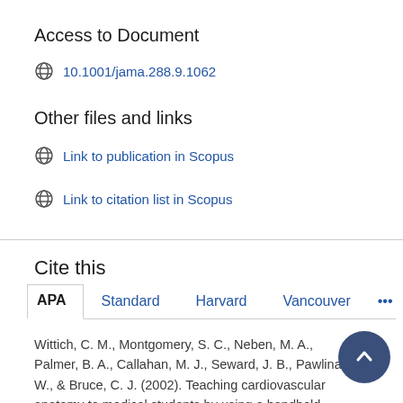Access to Document
10.1001/jama.288.9.1062
Other files and links
Link to publication in Scopus
Link to citation list in Scopus
Cite this
APA  Standard  Harvard  Vancouver  •••
Wittich, C. M., Montgomery, S. C., Neben, M. A., Palmer, B. A., Callahan, M. J., Seward, J. B., Pawlina, W., & Bruce, C. J. (2002). Teaching cardiovascular anatomy to medical students by using a handheld ultrasound device [3]. Journal of the American Medical